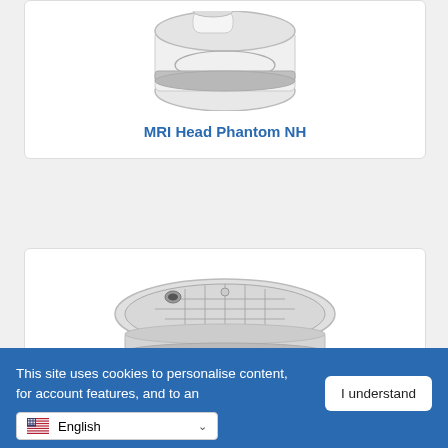[Figure (photo): Partial view of an MRI Head Phantom NH product — a clear glass/plastic flask-shaped phantom device, shown from above against a white background.]
MRI Head Phantom NH
[Figure (photo): A cylindrical clear acrylic MRI phantom device with internal structures visible, multiple stacked rings and internal rods/pins, shown from a slight top-down angle against a white background.]
This site uses cookies to personalise content, for account features, and to an...
I understand
English